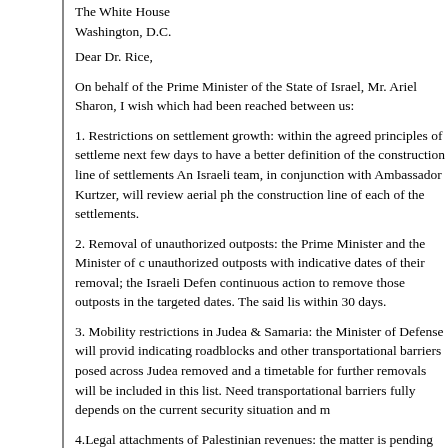The White House
Washington, D.C.
Dear Dr. Rice,
On behalf of the Prime Minister of the State of Israel, Mr. Ariel Sharon, I wish which had been reached between us:
1. Restrictions on settlement growth: within the agreed principles of settlement next few days to have a better definition of the construction line of settlements An Israeli team, in conjunction with Ambassador Kurtzer, will review aerial ph the construction line of each of the settlements.
2. Removal of unauthorized outposts: the Prime Minister and the Minister of c unauthorized outposts with indicative dates of their removal; the Israeli Defen continuous action to remove those outposts in the targeted dates. The said li within 30 days.
3. Mobility restrictions in Judea & Samaria: the Minister of Defense will provid indicating roadblocks and other transportational barriers posed across Judea removed and a timetable for further removals will be included in this list. Nee transportational barriers fully depends on the current security situation and m
4.Legal attachments of Palestinian revenues: the matter is pending in various decisions. We will urge the State Attorney's office to take any possible legal m decisions.
5. The Government of Israel extends to the Government of the United States
The Israeli government is committed to the two-state solution and...